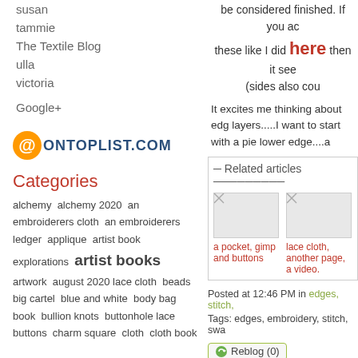susan
tammie
The Textile Blog
ulla
victoria
Google+
[Figure (logo): @ONTOPLIST.COM logo with orange circle]
Categories
alchemy alchemy 2020 an embroiderers cloth an embroiderers ledger applique artist book explorations artist books artwork august 2020 lace cloth beads big cartel blue and white body bag book bullion knots buttonhole lace buttons charm square cloth cloth book
be considered finished. If you ac these like I did here then it see (sides also cou
It excites me thinking about edg layers.....I want to start with a pie lower edge....a
Related articles
a pocket, gimp and buttons
lace cloth, another page, a video.
Posted at 12:46 PM in edges, stitch,
Tags: edges, embroidery, stitch, swa
Reblog (0)
04/29/2017
pockets on a swatch